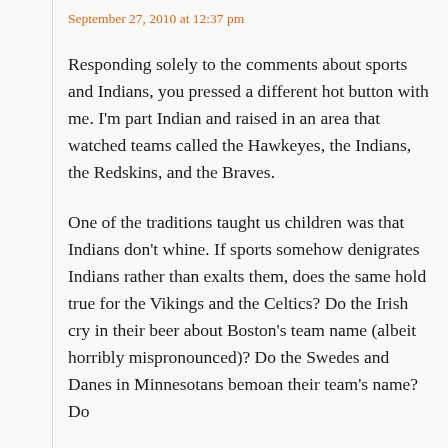September 27, 2010 at 12:37 pm
Responding solely to the comments about sports and Indians, you pressed a different hot button with me. I'm part Indian and raised in an area that watched teams called the Hawkeyes, the Indians, the Redskins, and the Braves.
One of the traditions taught us children was that Indians don't whine. If sports somehow denigrates Indians rather than exalts them, does the same hold true for the Vikings and the Celtics? Do the Irish cry in their beer about Boston's team name (albeit horribly mispronounced)? Do the Swedes and Danes in Minnesotans bemoan their team's name? Do